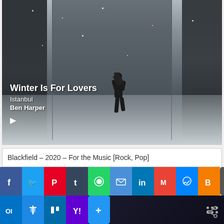[Figure (photo): Black and white snowy city street scene with a person lifting someone in the air. Snow falling on urban street flanked by tall buildings.]
Winter Is For Lovers
Istanbul
Ben Harper
Blackfield – 2020 – For the Music [Rock, Pop]
[Figure (screenshot): Social media sharing bar with icons: Facebook, Twitter, Pinterest, Tumblr, WhatsApp, Email, LinkedIn, Gmail, Messenger, Blogger, WordPress, Outlook, Pin It, Trello, Yahoo, and a plus button. Second row has dots menu and share icon on the right.]